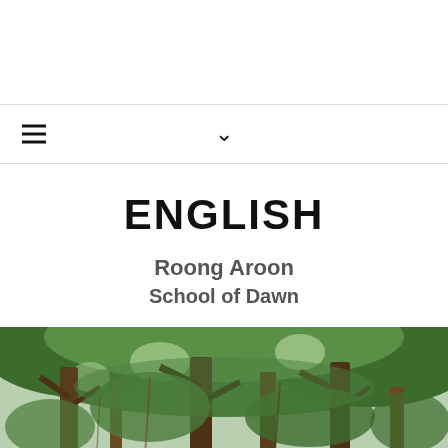ENGLISH
Roong Aroon
School of Dawn
[Figure (photo): Students sitting outdoors under large spreading trees with lush green canopy; children wearing red and white uniforms visible at the bottom of the image]